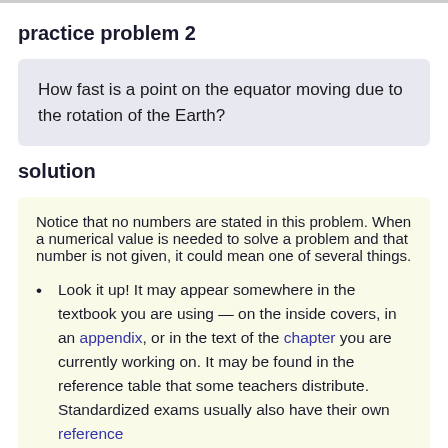practice problem 2
How fast is a point on the equator moving due to the rotation of the Earth?
solution
Notice that no numbers are stated in this problem. When a numerical value is needed to solve a problem and that number is not given, it could mean one of several things.
Look it up! It may appear somewhere in the textbook you are using — on the inside covers, in an appendix, or in the text of the chapter you are currently working on. It may be found in the reference table that some teachers distribute. Standardized exams usually also have their own reference
Standardized exams usually also have their own reference